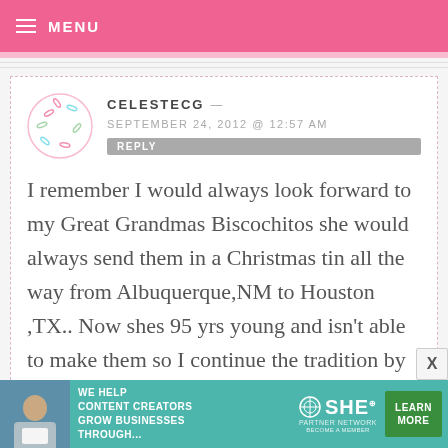MENU
CELESTECG — SEPTEMBER 24, 2012 @ 12:57 AM
REPLY
I remember I would always look forward to my Great Grandmas Biscochitos she would always send them in a Christmas tin all the way from Albuquerque,NM to Houston ,TX.. Now shes 95 yrs young and isn't able to make them so I continue the tradition by making them every
[Figure (illustration): SHE Partner Network advertisement banner with photo of woman, text 'WE HELP CONTENT CREATORS GROW BUSINESSES THROUGH...' and a LEARN MORE button]